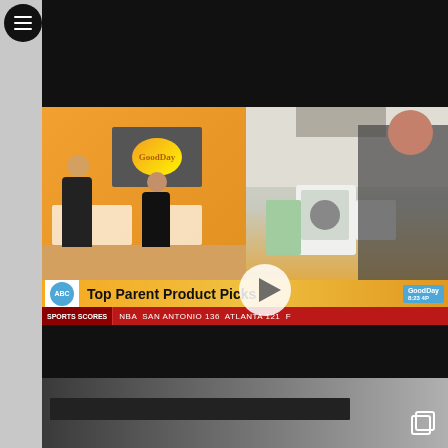[Figure (screenshot): Menu/hamburger button icon (three horizontal lines) in a black circle, top-left corner of the page]
[Figure (screenshot): TV show screenshot from 'Good Day' showing 'Top Parent Product Picks' segment. Left panel shows two hosts on a studio set with a GoodDay logo on a TV screen. Right panel shows a woman presenter in a floral blouse in a kitchen demonstrating baby/parent products. A play button triangle overlay is visible at the center. An orange banner at the bottom reads 'Top Parent Product Picks' with ABC logo and GoodDay branding. A red sports ticker below reads 'SPORTS SCORES | NBA SAN ANTONIO 136 ATLANTA 121 F'. Top and bottom of the video are black letterbox bars.]
[Figure (screenshot): Partial thumbnail of another video at the bottom of the page, showing what appears to be a dark bar/shelf against a lighter background. A copy/duplicate icon is visible in the bottom-right corner.]